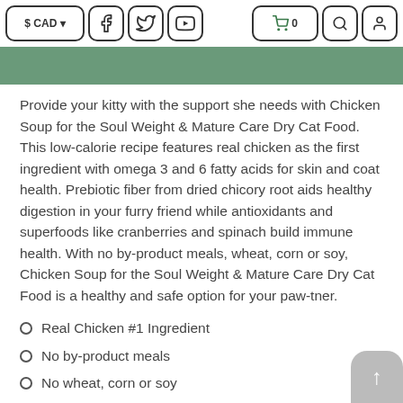$ CAD | Facebook | Twitter | YouTube | Cart 0 | Search | Account
Provide your kitty with the support she needs with Chicken Soup for the Soul Weight & Mature Care Dry Cat Food. This low-calorie recipe features real chicken as the first ingredient with omega 3 and 6 fatty acids for skin and coat health. Prebiotic fiber from dried chicory root aids healthy digestion in your furry friend while antioxidants and superfoods like cranberries and spinach build immune health. With no by-product meals, wheat, corn or soy, Chicken Soup for the Soul Weight & Mature Care Dry Cat Food is a healthy and safe option for your paw-tner.
Real Chicken #1 Ingredient
No by-product meals
No wheat, corn or soy
No artificial colors, preservatives or flavors
Lovingly prepared in the USA with the world's finest ingredients